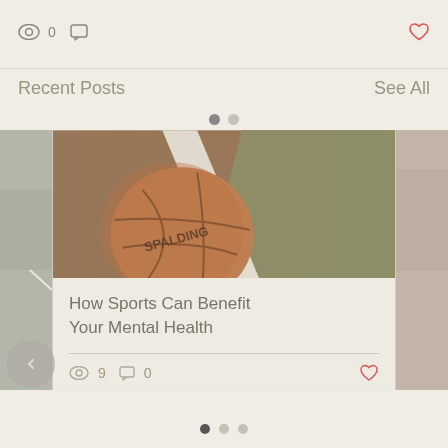[Figure (screenshot): Top bar with eye icon showing 0 views, chat bubble icon, and a red heart icon on the right]
Recent Posts
See All
[Figure (photo): Carousel with basketball on court (Spalding ball on red asphalt near white line and green turf), side peeking images on left and right]
How Sports Can Benefit Your Mental Health
9 views, 0 comments, heart icon